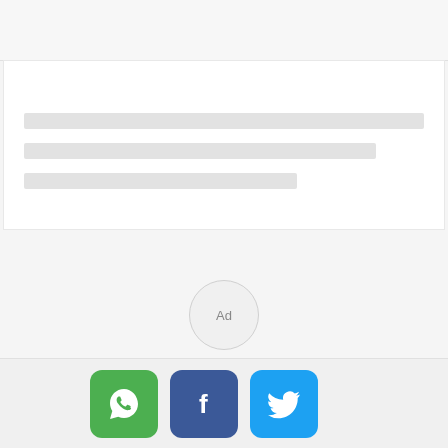[Figure (screenshot): Top navigation bar area with light gray background]
[Figure (screenshot): White card with three skeleton loading placeholder lines of varying widths]
[Figure (screenshot): Ad button - circular button with 'Ad' label centered on gray background]
[Figure (screenshot): Social sharing bar with WhatsApp (green), Facebook (blue), and Twitter (light blue) icon buttons]